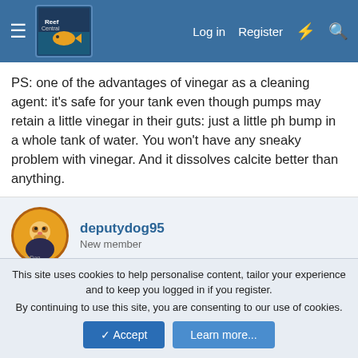Reef Central — Log in | Register
PS: one of the advantages of vinegar as a cleaning agent: it's safe for your tank even though pumps may retain a little vinegar in their guts: just a little ph bump in a whole tank of water. You won't have any sneaky problem with vinegar. And it dissolves calcite better than anything.
deputydog95
New member
Jul 25, 2020  #4
Thanks for all the great info!
I'm starting over with new rock and new sand. I had majanos
This site uses cookies to help personalise content, tailor your experience and to keep you logged in if you register.
By continuing to use this site, you are consenting to our use of cookies.